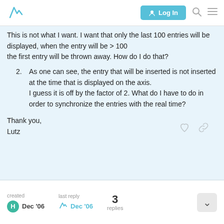Log In (navigation bar with logo)
This is not what I want. I want that only the last 100 entries will be displayed, when the entry will be > 100 the first entry will be thrown away. How do I do that?
2. As one can see, the entry that will be inserted is not inserted at the time that is displayed on the axis. I guess it is off by the factor of 2. What do I have to do in order to synchronize the entries with the real time?
Thank you,
Lutz
created Dec '06  |  last reply Dec '06  |  3 replies